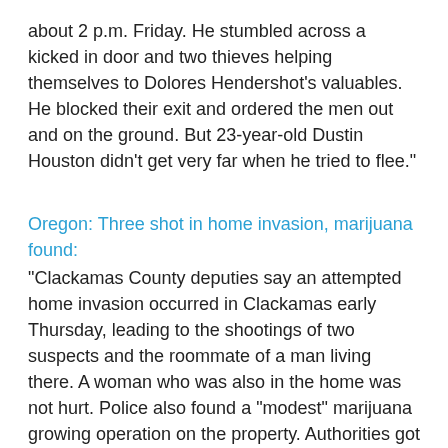about 2 p.m. Friday. He stumbled across a kicked in door and two thieves helping themselves to Dolores Hendershot's valuables. He blocked their exit and ordered the men out and on the ground. But 23-year-old Dustin Houston didn't get very far when he tried to flee."
Oregon: Three shot in home invasion, marijuana found:
"Clackamas County deputies say an attempted home invasion occurred in Clackamas early Thursday, leading to the shootings of two suspects and the roommate of a man living there. A woman who was also in the home was not hurt. Police also found a "modest" marijuana growing operation on the property. Authorities got a 911 call at about 3 a.m. from a person who lives at the house, telling them he shot two men who came into the basement section of the home, where his roommate was residing. The man also says his roommate got caught in the crossfire and was also shot. The man in the home reportedly fired several rounds from a shotgun. The persons in the home at the time of the incident and the persons suspected of entering the home by force were identified by police Thursday afternoon in a press